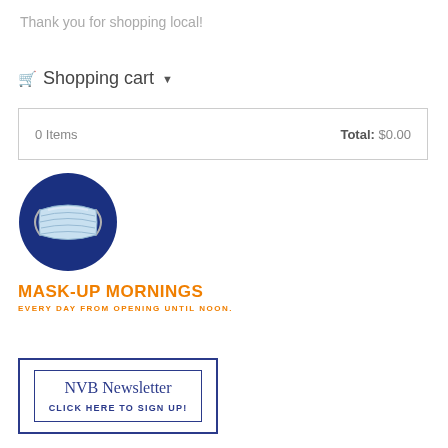Thank you for shopping local!
🛒 Shopping cart ▾
| 0 Items | Total: $0.00 |
| --- | --- |
[Figure (illustration): Dark blue circle with a light blue surgical face mask illustration inside. Below the circle: 'MASK-UP MORNINGS' in orange bold uppercase, and 'EVERY DAY FROM OPENING UNTIL NOON.' in smaller orange bold uppercase.]
[Figure (infographic): NVB Newsletter sign-up box with double blue border rectangle. Title 'NVB Newsletter' in blue serif font and 'CLICK HERE TO SIGN UP!' in bold blue uppercase.]